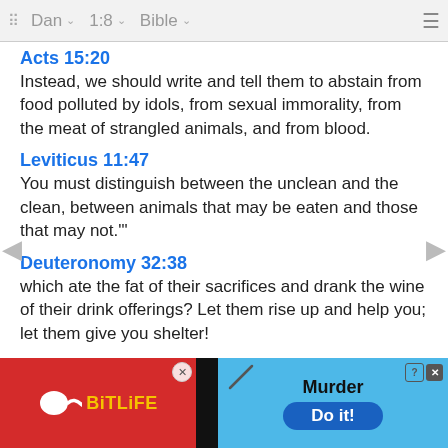Dan | 1:8 | Bible
Acts 15:20
Instead, we should write and tell them to abstain from food polluted by idols, from sexual immorality, from the meat of strangled animals, and from blood.
Leviticus 11:47
You must distinguish between the unclean and the clean, between animals that may be eaten and those that may not.'"
Deuteronomy 32:38
which ate the fat of their sacrifices and drank the wine of their drink offerings? Let them rise up and help you; let them give you shelter!
Psalm 141:4
Do not let my heart be drawn to any evil thing, or take part ... do iniqui...
[Figure (screenshot): BitLife app advertisement overlay with red left panel showing sperm logo and 'BitLife' text, black divider, blue right panel with 'Murder' text, 'Do it!' button, and close/help icons]